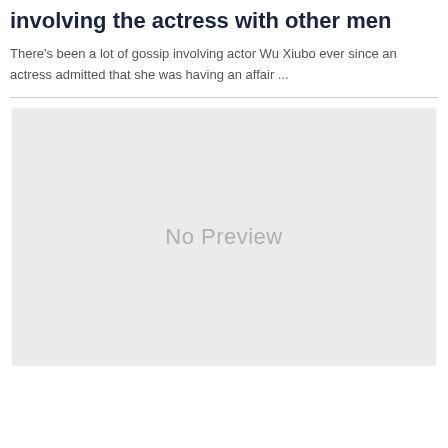involving the actress with other men
There's been a lot of gossip involving actor Wu Xiubo ever since an actress admitted that she was having an affair ...
[Figure (other): No Preview placeholder image with light grey background]